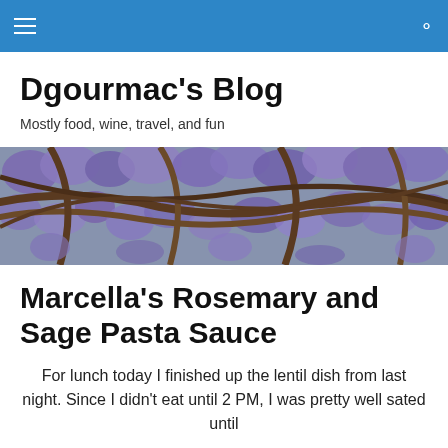Navigation bar with hamburger menu and search icon
Dgourmac's Blog
Mostly food, wine, travel, and fun
[Figure (photo): Wide banner photo of wisteria flowers with purple blooms growing over twisted brown wooden lattice or branches, stone wall visible in background.]
Marcella's Rosemary and Sage Pasta Sauce
For lunch today I finished up the lentil dish from last night. Since I didn't eat until 2 PM, I was pretty well sated until